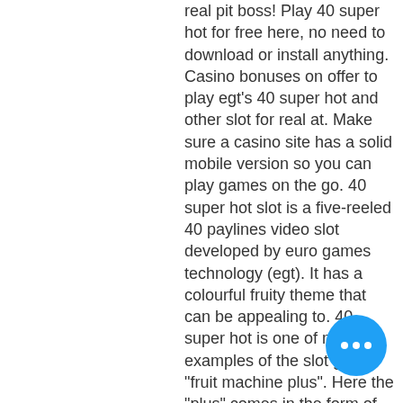real pit boss! Play 40 super hot for free here, no need to download or install anything. Casino bonuses on offer to play egt's 40 super hot and other slot for real at. Make sure a casino site has a solid mobile version so you can play games on the go. 40 super hot slot is a five-reeled 40 paylines video slot developed by euro games technology (egt). It has a colourful fruity theme that can be appealing to. 40 super hot is one of many examples of the slot genre: &quot;fruit machine plus&quot;. Here the &quot;plus&quot; comes in the form of extra symbols – the game plays out on a five-. This website is operated by tsg interactive gaming europe limited, a company registered in malta under no. C54266, with registered office at spinola park, We are checking your browser, super hot casino games. What does this mean? We have scanned the flagged URLs associated with this software